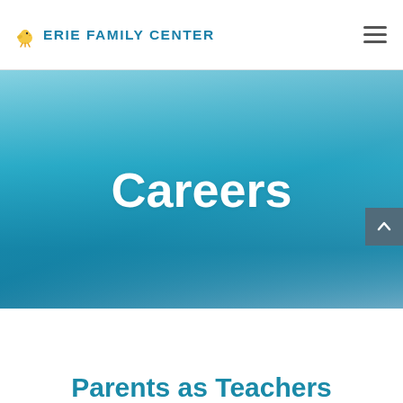ERIE FAMILY CENTER
[Figure (screenshot): Hero banner with sky blue gradient background displaying the word 'Careers' in large bold white text]
Careers
Parents as Teachers